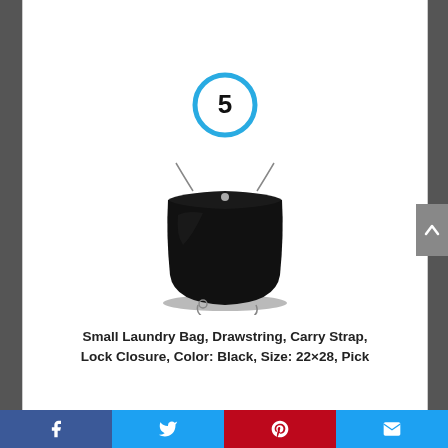[Figure (other): Number 5 inside a cyan/light-blue circle outline]
[Figure (photo): Black drawstring laundry bag with carry strap and lock closure]
Small Laundry Bag, Drawstring, Carry Strap, Lock Closure, Color: Black, Size: 22×28, Pick